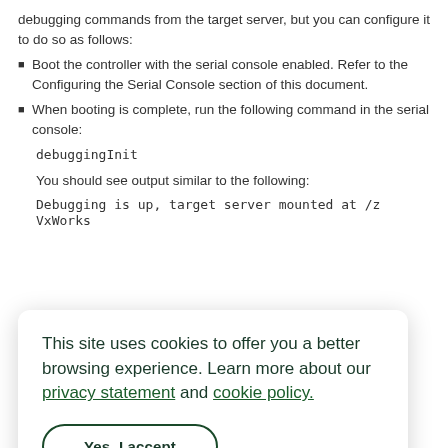debugging commands from the target server, but you can configure it to do so as follows:
Boot the controller with the serial console enabled. Refer to the Configuring the Serial Console section of this document.
When booting is complete, run the following command in the serial console:
debuggingInit
You should see output similar to the following:
Debugging is up, target server mounted at /z
VxWorks
This site uses cookies to offer you a better browsing experience. Learn more about our privacy statement and cookie policy.